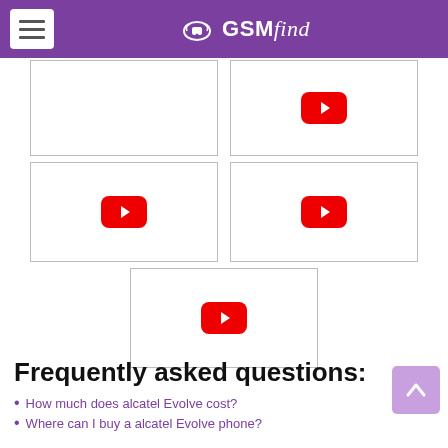GSMfind
[Figure (screenshot): Five YouTube video placeholder thumbnails arranged in a 2-2-1 grid layout]
Frequently asked questions:
How much does alcatel Evolve cost?
Where can I buy a alcatel Evolve phone?